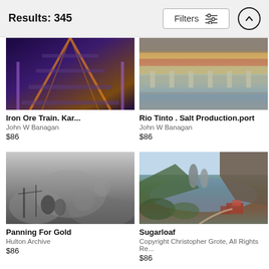Results: 345
[Figure (photo): Iron Ore Train aerial view of railway tracks with purple/orange tones]
Iron Ore Train. Kar...
John W Banagan
$86
[Figure (photo): Rio Tinto Salt Production port with water, pink/brown salt pans and pillars]
Rio Tinto . Salt Production.port
John W Banagan
$86
[Figure (photo): Black and white historical photo of people panning for gold]
Panning For Gold
Hulton Archive
$86
[Figure (photo): Sugarloaf coastal landscape with rock formations, sea, cliffs and buildings]
Sugarloaf
Copyright Christopher Grote, All Rights Re...
$86